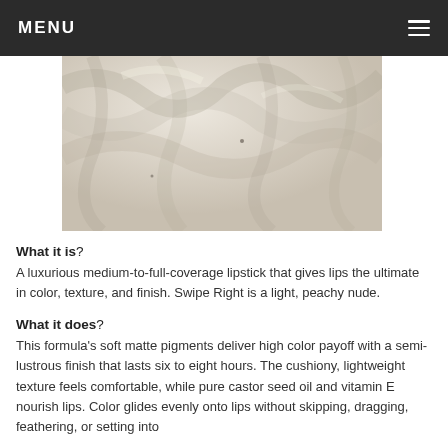MENU
[Figure (photo): Close-up photo of cream/off-white draped fabric with soft folds and texture]
What it is?
A luxurious medium-to-full-coverage lipstick that gives lips the ultimate in color, texture, and finish. Swipe Right is a light, peachy nude.
What it does?
This formula's soft matte pigments deliver high color payoff with a semi-lustrous finish that lasts six to eight hours. The cushiony, lightweight texture feels comfortable, while pure castor seed oil and vitamin E nourish lips. Color glides evenly onto lips without skipping, dragging, feathering, or setting into